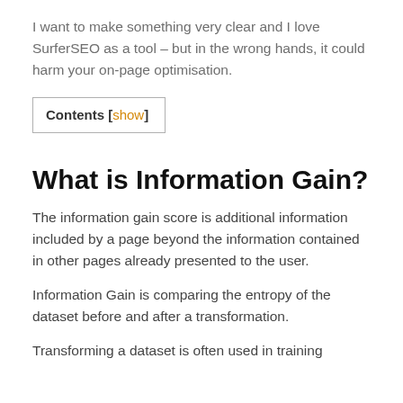I want to make something very clear and I love SurferSEO as a tool – but in the wrong hands, it could harm your on-page optimisation.
Contents [show]
What is Information Gain?
The information gain score is additional information included by a page beyond the information contained in other pages already presented to the user.
Information Gain is comparing the entropy of the dataset before and after a transformation.
Transforming a dataset is often used in training